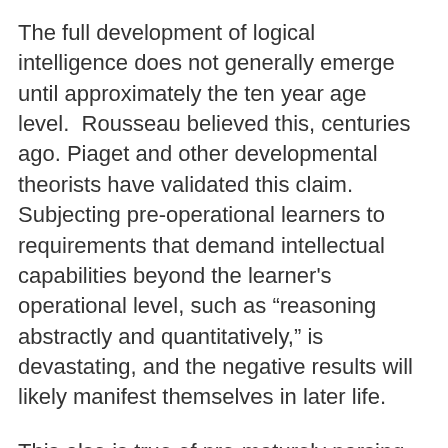The full development of logical intelligence does not generally emerge until approximately the ten year age level. Rousseau believed this, centuries ago. Piaget and other developmental theorists have validated this claim. Subjecting pre-operational learners to requirements that demand intellectual capabilities beyond the learner's operational level, such as “reasoning abstractly and quantitatively,” is devastating, and the negative results will likely manifest themselves in later life.
This also is true of pre-maturely parsing the language into its syllables and letters, and analyzing sentence structure and themes in written works. This is comparable to memorizing the arithmetic facts that are not conceptualized and have little if any real use to the young